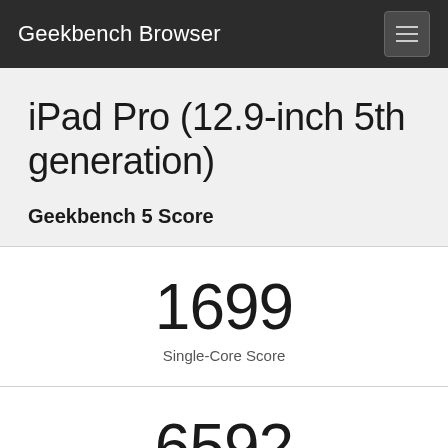Geekbench Browser
iPad Pro (12.9-inch 5th generation)
Geekbench 5 Score
1699
Single-Core Score
6592